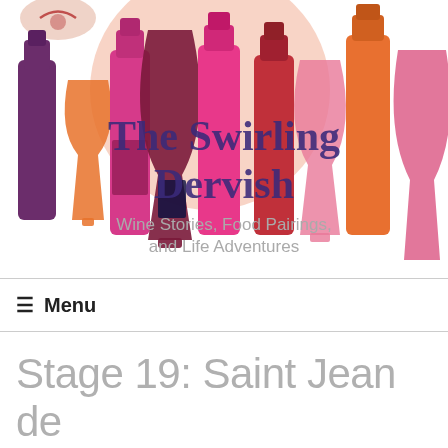[Figure (illustration): Header banner for 'The Swirling Dervish' blog showing colorful illustrated wine bottles and glasses in pink, red, orange, magenta, and purple tones. Text overlay reads 'The Swirling Dervish' in dark purple and 'Wine Stories, Food Pairings, and Life Adventures' in gray.]
≡ Menu
Stage 19: Saint Jean de Maurienne to La